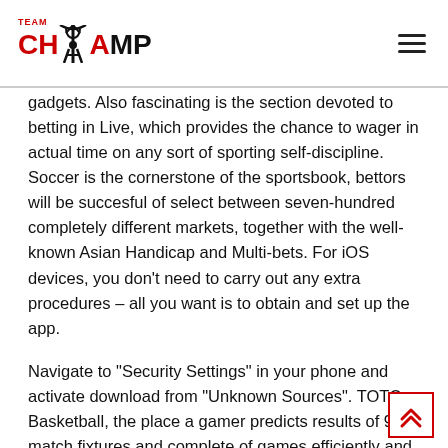TEAM CHAMP
gadgets. Also fascinating is the section devoted to betting in Live, which provides the chance to wager in actual time on any sort of sporting self-discipline. Soccer is the cornerstone of the sportsbook, bettors will be succesful of select between seven-hundred completely different markets, together with the well-known Asian Handicap and Multi-bets. For iOS devices, you don't need to carry out any extra procedures – all you want is to obtain and set up the app.
Navigate to “Security Settings” in your phone and activate download from “Unknown Sources”. TOTO Basketball, the place a gamer predicts results of 9 match fixtures and complete of games efficiently and wins basketball jackpot. TOTO Football the place, gamer accurately predicts outcomes of 15 games and wins football jackpot. First, the place of consequented the at the site utilization